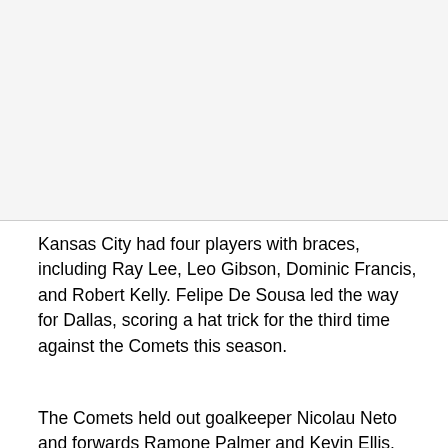[Figure (photo): Image placeholder area at top of page]
Kansas City had four players with braces, including Ray Lee, Leo Gibson, Dominic Francis, and Robert Kelly. Felipe De Sousa led the way for Dallas, scoring a hat trick for the third time against the Comets this season.
The Comets held out goalkeeper Nicolau Neto and forwards Ramone Palmer and Kevin Ellis. Ignacio